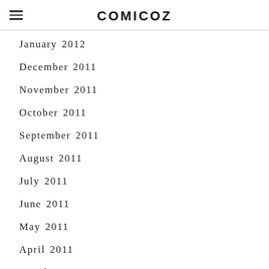COMICOZ
January 2012
December 2011
November 2011
October 2011
September 2011
August 2011
July 2011
June 2011
May 2011
April 2011
March 2011
February 2011